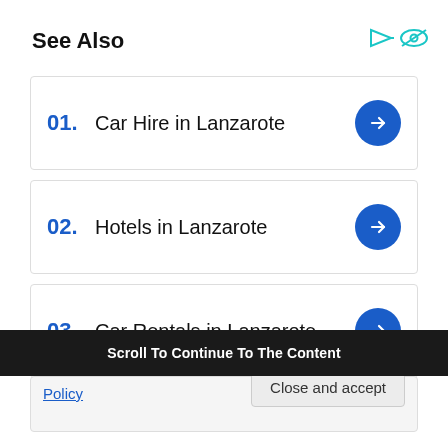See Also
01.  Car Hire in Lanzarote
02.  Hotels in Lanzarote
03.  Car Rentals in Lanzarote
Scroll To Continue To The Content
Policy
Close and accept